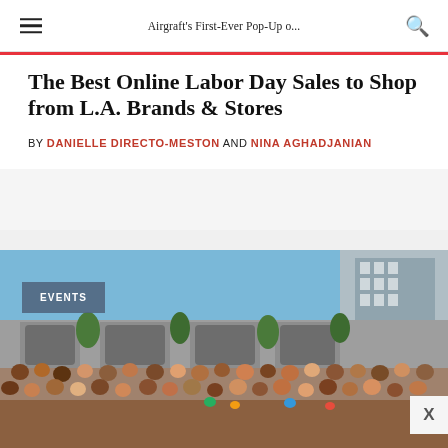Airgraft's First-Ever Pop-Up o...
The Best Online Labor Day Sales to Shop from L.A. Brands & Stores
by DANIELLE DIRECTO-MESTON AND NINA AGHADJANIAN
[Figure (photo): Outdoor rooftop crowd event scene with modern building architecture in background, blue sky, trees and dense crowd of people in summer attire. An 'EVENTS' badge overlay is in the upper left.]